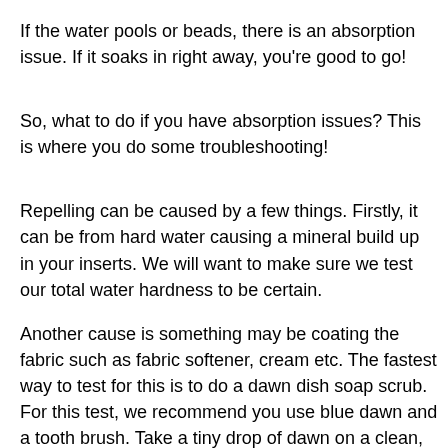If the water pools or beads, there is an absorption issue. If it soaks in right away, you're good to go!
So, what to do if you have absorption issues? This is where you do some troubleshooting!
Repelling can be caused by a few things. Firstly, it can be from hard water causing a mineral build up in your inserts. We will want to make sure we test our total water hardness to be certain.
Another cause is something may be coating the fabric such as fabric softener, cream etc. The fastest way to test for this is to do a dawn dish soap scrub. For this test, we recommend you use blue dawn and a tooth brush. Take a tiny drop of dawn on a clean, repelling insert and use the tooth brush to scrub the insert. Rinse it out super well and test to see if the insert is repelling still (if it is, you likely have a mineral build up as